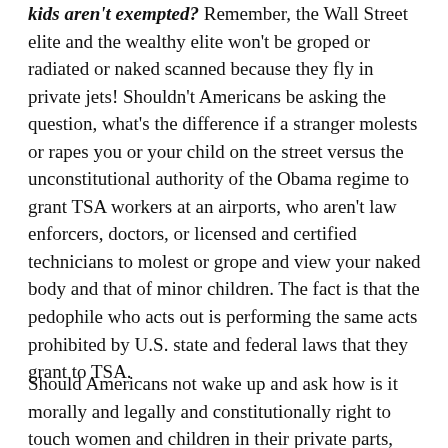kids aren't exempted? Remember, the Wall Street elite and the wealthy elite won't be groped or radiated or naked scanned because they fly in private jets!  Shouldn't Americans be asking the question, what's the difference if a stranger molests or rapes you or your child on the street versus the unconstitutional authority of the Obama regime to grant TSA workers at an airports, who aren't law enforcers, doctors, or licensed and certified technicians to  molest or grope and view your naked body and that of minor children. The fact is that the pedophile who acts out is performing the same acts prohibited by U.S. state and federal laws that they grant to TSA.
Should Americans not wake up and ask how is it morally and legally and constitutionally right to touch women and children in their private parts, which on the law books, is a crime.  How about